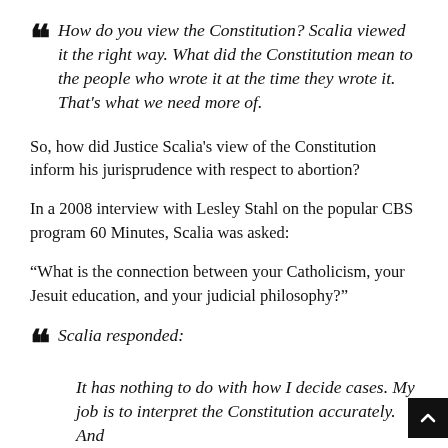How do you view the Constitution? Scalia viewed it the right way. What did the Constitution mean to the people who wrote it at the time they wrote it. That's what we need more of.
So, how did Justice Scalia's view of the Constitution inform his jurisprudence with respect to abortion?
In a 2008 interview with Lesley Stahl on the popular CBS program 60 Minutes, Scalia was asked:
“What is the connection between your Catholicism, your Jesuit education, and your judicial philosophy?”
Scalia responded:
It has nothing to do with how I decide cases. My job is to interpret the Constitution accurately. And